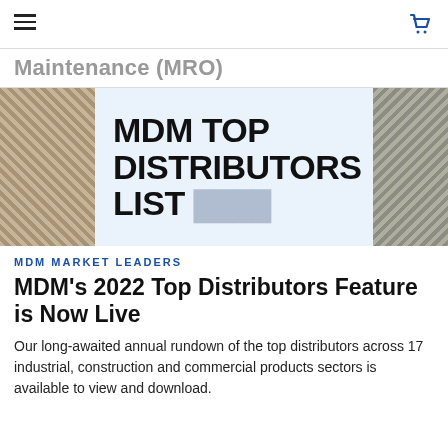[hamburger menu] [cart icon]
Maintenance (MRO)
[Figure (illustration): Banner image with 'MDM TOP DISTRIBUTORS LIST' text on a light blue background, flanked by industrial photos on left and right]
MDM MARKET LEADERS
MDM's 2022 Top Distributors Feature is Now Live
Our long-awaited annual rundown of the top distributors across 17 industrial, construction and commercial products sectors is available to view and download.